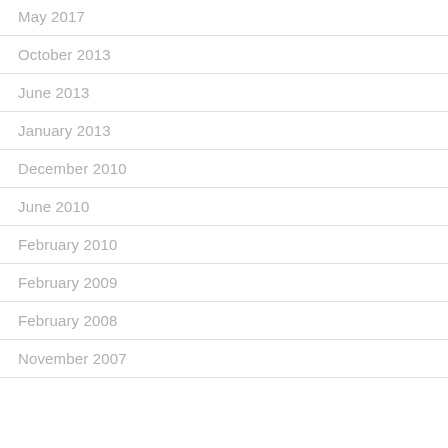May 2017
October 2013
June 2013
January 2013
December 2010
June 2010
February 2010
February 2009
February 2008
November 2007